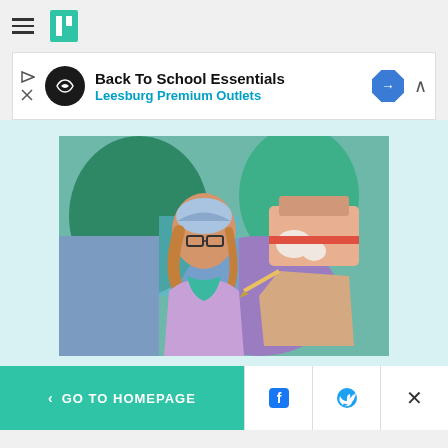HuffPost navigation header with hamburger menu and logo
[Figure (other): Advertisement banner: Back To School Essentials - Leesburg Premium Outlets]
[Figure (photo): Woman with glasses and blue bandana headscarf painting a cardboard robot/figure against a colorful mural background]
HOME & LIVING
This New Rom-Com Is The
< GO TO HOMEPAGE | Facebook share | Twitter share | Close